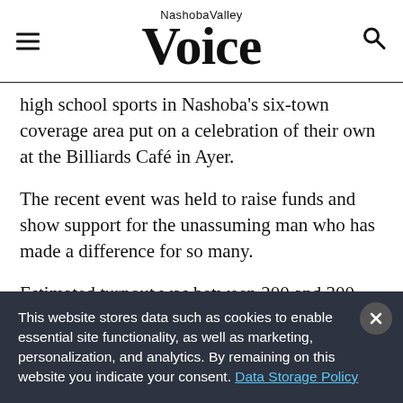Nashoba Valley Voice
high school sports in Nashoba's six-town coverage area put on a celebration of their own at the Billiards Café in Ayer.
The recent event was held to raise funds and show support for the unassuming man who has made a difference for so many.
Estimated turnout was between 200 and 300 people. The room was filled with people who came and went over the course of the evening, enjoying live music, refreshments,
This website stores data such as cookies to enable essential site functionality, as well as marketing, personalization, and analytics. By remaining on this website you indicate your consent. Data Storage Policy